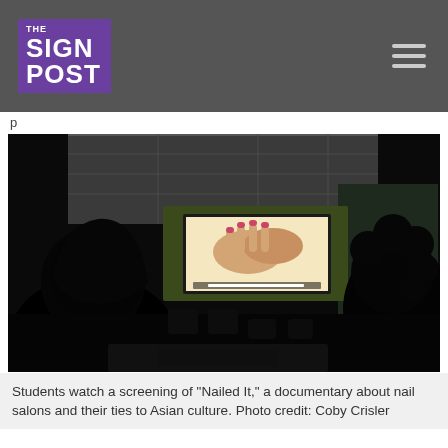THE SIGN POST
p
[Figure (photo): A dark room with silhouettes of students seated watching a projected screen showing hands being painted (nail salon scene). Two silhouetted heads visible in foreground, projection screen brightly lit in the center background.]
Students watch a screening of "Nailed It," a documentary about nail salons and their ties to Asian culture. Photo credit: Coby Crisler